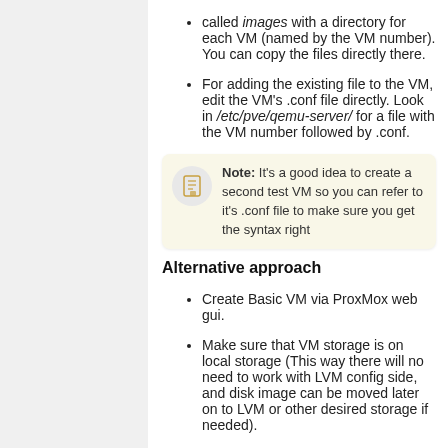called Images with a directory for each VM (named by the VM number). You can copy the files directly there.
For adding the existing file to the VM, edit the VM's .conf file directly. Look in /etc/pve/qemu-server/ for a file with the VM number followed by .conf.
Note: It's a good idea to create a second test VM so you can refer to it's .conf file to make sure you get the syntax right
Alternative approach
Create Basic VM via ProxMox web gui.
Make sure that VM storage is on local storage (This way there will no need to work with LVM config side, and disk image can be moved later on to LVM or other desired storage if needed).
Log into ProxMox host via SSH and